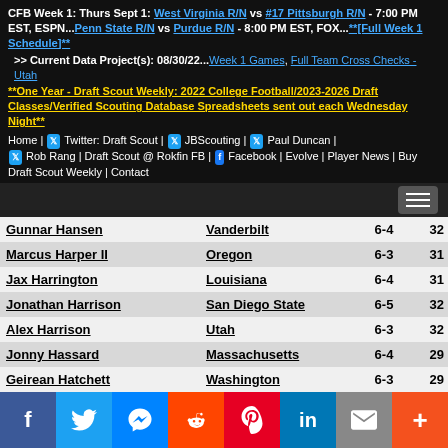CFB Week 1: Thurs Sept 1: West Virginia R/N vs #17 Pittsburgh R/N - 7:00 PM EST, ESPN...Penn State R/N vs Purdue R/N - 8:00 PM EST, FOX...**[Full Week 1 Schedule]**
>> Current Data Project(s): 08/30/22...Week 1 Games, Full Team Cross Checks - Utah
**One Year - Draft Scout Weekly: 2022 College Football/2023-2026 Draft Classes/Verified Scouting Database Spreadsheets sent out each Wednesday Night**
Home | Twitter: Draft Scout | JBScouting | Paul Duncan | Rob Rang | Draft Scout @ Rokfin FB | Facebook | Evolve | Player News | Buy Draft Scout Weekly | Contact
| Name | School | Ht | Wt |
| --- | --- | --- | --- |
| Gunnar Hansen | Vanderbilt | 6-4 | 32 |
| Marcus Harper II | Oregon | 6-3 | 31 |
| Jax Harrington | Louisiana | 6-4 | 31 |
| Jonathan Harrison | San Diego State | 6-5 | 32 |
| Alex Harrison | Utah | 6-3 | 32 |
| Jonny Hassard | Massachusetts | 6-4 | 29 |
| Geirean Hatchett | Washington | 6-3 | 29 |
| Garrett Hayes | Texas Christian | 6-4 | 32 |
| Drake Heismeyer | Missouri | 6-3 | 30 |
Share buttons: Facebook, Twitter, Messenger, Reddit, Pinterest, LinkedIn, Email, More